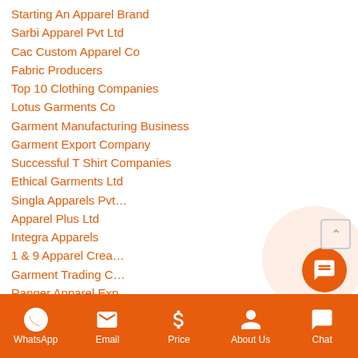Starting An Apparel Brand
Sarbi Apparel Pvt Ltd
Cac Custom Apparel Co
Fabric Producers
Top 10 Clothing Companies
Lotus Garments Co
Garment Manufacturing Business
Garment Export Company
Successful T Shirt Companies
Ethical Garments Ltd
Singla Apparels Pvt…
Apparel Plus Ltd
Integra Apparels
1 & 9 Apparel Crea…
Garment Trading C…
Ranger Apparel Exp…
Last Inch Apparel Pvt Ltd
Folio Apparel Sdn Bhd
Global Clothing Pvt Ltd
Garments Accessories Manufacturer
[Figure (screenshot): Chat popup with avatar of Rose saying 'Hello, can i help you ?' with orange border and close button]
WhatsApp  Email  Price  About Us  Chat